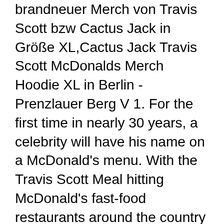brandneuer Merch von Travis Scott bzw Cactus Jack in Größe XL,Cactus Jack Travis Scott McDonalds Merch Hoodie XL in Berlin - Prenzlauer Berg V 1. For the first time in nearly 30 years, a celebrity will have his name on a McDonald's menu. With the Travis Scott Meal hitting McDonald's fast-food restaurants around the country this week, the iconic Golden Arches and Cactus Jack have also dropped exclusive merch and a national commercial. Regular price $9.99 Sale price $9.99 Sale. Travis Scott could have collabed with a really dope black small owned biz and the merch would have sold out in minutes. Thank you! Cart () Close × Search Cart. Travis Scott x McDonald's Crew T-Shirt - Limited Edition quantity . Filed under fast food , mcdonald's , travis scott , 9/8/20 Share this article: Inspired designs on t-shirts, posters, stickers, home decor, and more by independent artists and designers from around the world. $14.99. I random buy Travis Scott's merch. Travis Scott debuts McDonald's 'Cactus Jack' merch, including $48 t-shirts, a $90 McNugget body pillow, and $250 denim shorts Kate Taylor Sep 10, 2020, 5:59 AM Can the